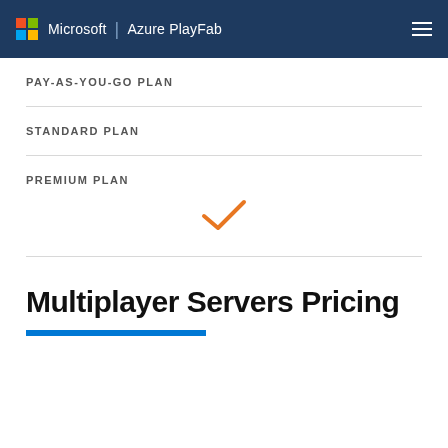Microsoft | Azure PlayFab
PAY-AS-YOU-GO PLAN
STANDARD PLAN
PREMIUM PLAN
Multiplayer Servers Pricing